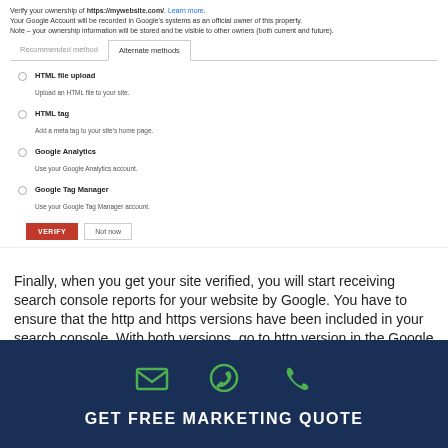[Figure (screenshot): Google Search Console property verification dialog showing 'Alternate methods' tab selected with options: HTML file upload, HTML tag, Google Analytics, Google Tag Manager, and VERIFY/Not now buttons]
Finally, when you get your site verified, you will start receiving search console reports for your website by Google. You have to ensure that the http and https versions have been included in your search console. With both versions, go to http version in the Google Search Console and then click on the settings and select the option of 'Change of Site Address'.
[Figure (infographic): Dark navy footer bar with green email, WhatsApp, and phone icons and white text GET FREE MARKETING QUOTE]